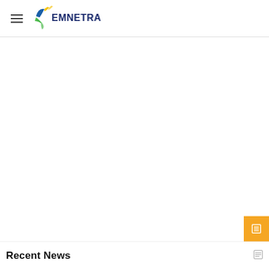EMNETRA
[Figure (logo): Emnetra logo with stylized wing/leaf graphic in blue, green and yellow, followed by bold dark blue text 'EMNETRA']
[Figure (other): Orange square button in bottom-right corner]
Recent News